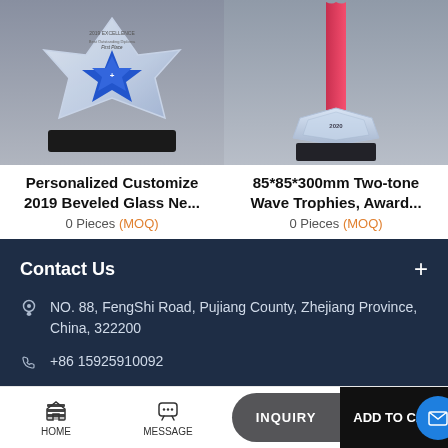[Figure (photo): Crystal star trophy with blue star center and black base, labeled First Place, 2019 Excellence]
Personalized Customize 2019 Beveled Glass Ne...
0 Pieces (MOQ)
[Figure (photo): 85x85x300mm two-tone wave trophy with red ribbon top and crystal/metal base with Chinese text]
85*85*300mm Two-tone Wave Trophies, Award...
0 Pieces (MOQ)
Contact Us
NO. 88, FengShi Road, Pujiang County, Zhejiang Province, China, 322200
+86 15925910092
HOME  MESSAGE  INQUIRY  ADD TO CART